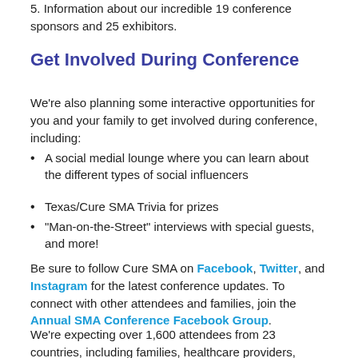3. Information about our incredible 19 conference sponsors and 25 exhibitors.
Get Involved During Conference
We're also planning some interactive opportunities for you and your family to get involved during conference, including:
A social medial lounge where you can learn about the different types of social influencers
Texas/Cure SMA Trivia for prizes
"Man-on-the-Street" interviews with special guests, and more!
Be sure to follow Cure SMA on Facebook, Twitter, and Instagram for the latest conference updates. To connect with other attendees and families, join the Annual SMA Conference Facebook Group.
We're expecting over 1,600 attendees from 23 countries, including families, healthcare providers, professionals and SMA researchers. We hope to see you there!